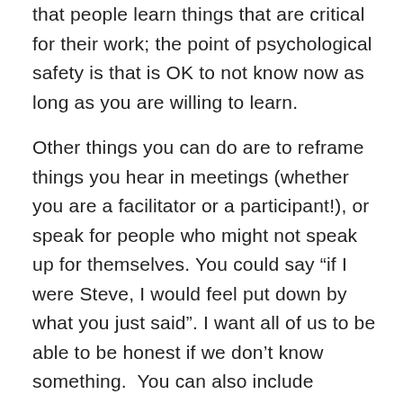that people learn things that are critical for their work; the point of psychological safety is that is OK to not know now as long as you are willing to learn.
Other things you can do are to reframe things you hear in meetings (whether you are a facilitator or a participant!), or speak for people who might not speak up for themselves. You could say “if I were Steve, I would feel put down by what you just said”. I want all of us to be able to be honest if we don’t know something. You can also include mentoring and teaching in your career ladder, so that it’s clear it’s a skill that is valued. Finally, you can model not knowing yourself, by asking people on your team to